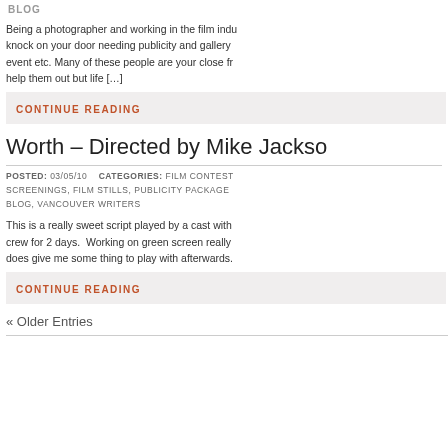BLOG
Being a photographer and working in the film indu... knock on your door needing publicity and gallery ... event etc. Many of these people are your close fr... help them out but life [...]
CONTINUE READING
Worth – Directed by Mike Jackso...
POSTED: 03/05/10    CATEGORIES: FILM CONTEST... SCREENINGS, FILM STILLS, PUBLICITY PACKAGE... BLOG, VANCOUVER WRITERS
This is a really sweet script played by a cast with... crew for 2 days.  Working on green screen really... does give me some thing to play with afterwards.
CONTINUE READING
« Older Entries